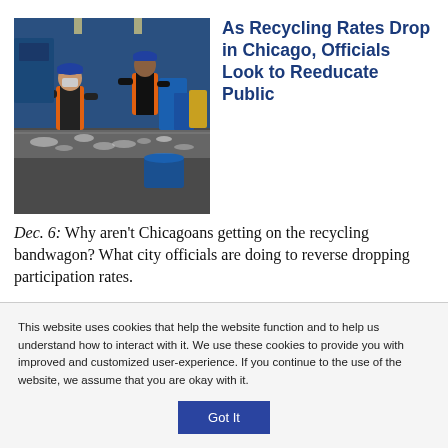[Figure (photo): Workers in orange safety vests and blue hard hats sorting recyclables on a conveyor belt inside a recycling facility with blue walls and bins.]
As Recycling Rates Drop in Chicago, Officials Look to Reeducate Public
Dec. 6: Why aren't Chicagoans getting on the recycling bandwagon? What city officials are doing to reverse dropping participation rates.
This website uses cookies that help the website function and to help us understand how to interact with it. We use these cookies to provide you with improved and customized user-experience. If you continue to the use of the website, we assume that you are okay with it.
Got It